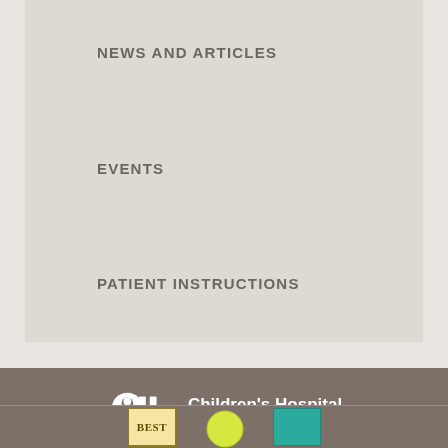NEWS AND ARTICLES
EVENTS
PATIENT INSTRUCTIONS
[Figure (logo): Children's Hospital of Philadelphia logo with CHOP icon and text]
3401 Civic Center Blvd.
Philadelphia, PA 19104
[Figure (other): Award badges including BEST badge at bottom]